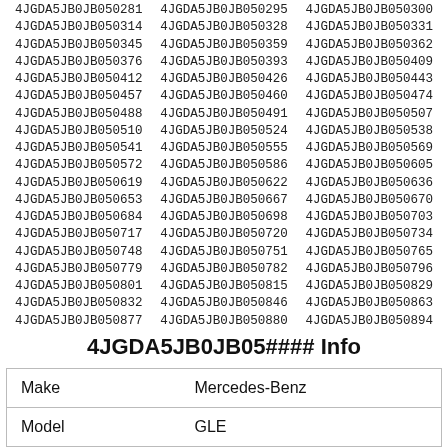4JGDA5JB0JB050281 4JGDA5JB0JB050295 4JGDA5JB0JB050300
4JGDA5JB0JB050314 4JGDA5JB0JB050328 4JGDA5JB0JB050331
4JGDA5JB0JB050345 4JGDA5JB0JB050359 4JGDA5JB0JB050362
4JGDA5JB0JB050376 4JGDA5JB0JB050393 4JGDA5JB0JB050409
4JGDA5JB0JB050412 4JGDA5JB0JB050426 4JGDA5JB0JB050443
4JGDA5JB0JB050457 4JGDA5JB0JB050460 4JGDA5JB0JB050474
4JGDA5JB0JB050488 4JGDA5JB0JB050491 4JGDA5JB0JB050507
4JGDA5JB0JB050510 4JGDA5JB0JB050524 4JGDA5JB0JB050538
4JGDA5JB0JB050541 4JGDA5JB0JB050555 4JGDA5JB0JB050569
4JGDA5JB0JB050572 4JGDA5JB0JB050586 4JGDA5JB0JB050605
4JGDA5JB0JB050619 4JGDA5JB0JB050622 4JGDA5JB0JB050636
4JGDA5JB0JB050653 4JGDA5JB0JB050667 4JGDA5JB0JB050670
4JGDA5JB0JB050684 4JGDA5JB0JB050698 4JGDA5JB0JB050703
4JGDA5JB0JB050717 4JGDA5JB0JB050720 4JGDA5JB0JB050734
4JGDA5JB0JB050748 4JGDA5JB0JB050751 4JGDA5JB0JB050765
4JGDA5JB0JB050779 4JGDA5JB0JB050782 4JGDA5JB0JB050796
4JGDA5JB0JB050801 4JGDA5JB0JB050815 4JGDA5JB0JB050829
4JGDA5JB0JB050832 4JGDA5JB0JB050846 4JGDA5JB0JB050863
4JGDA5JB0JB050877 4JGDA5JB0JB050880 4JGDA5JB0JB050894
4JGDA5JB0JB05#### Info
| Make | Mercedes-Benz |
| --- | --- |
| Model | GLE |